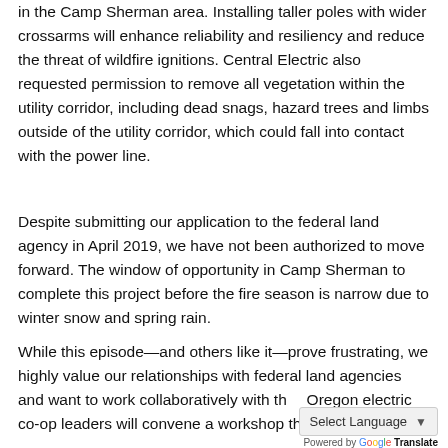in the Camp Sherman area. Installing taller poles with wider crossarms will enhance reliability and resiliency and reduce the threat of wildfire ignitions. Central Electric also requested permission to remove all vegetation within the utility corridor, including dead snags, hazard trees and limbs outside of the utility corridor, which could fall into contact with the power line.
Despite submitting our application to the federal land agency in April 2019, we have not been authorized to move forward. The window of opportunity in Camp Sherman to complete this project before the fire season is narrow due to winter snow and spring rain.
While this episode—and others like it—prove frustrating, we highly value our relationships with federal land agencies and want to work collaboratively with th… Oregon electric co-op leaders will convene a workshop this